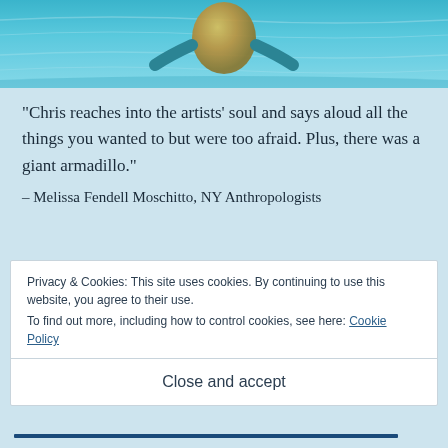[Figure (photo): Underwater photo of a person in a yellow swimsuit swimming in a blue pool, viewed from above]
“Chris reaches into the artists’ soul and says aloud all the things you wanted to but were too afraid. Plus, there was a giant armadillo.”
– Melissa Fendell Moschitto, NY Anthropologists
Privacy & Cookies: This site uses cookies. By continuing to use this website, you agree to their use.
To find out more, including how to control cookies, see here: Cookie Policy
Close and accept